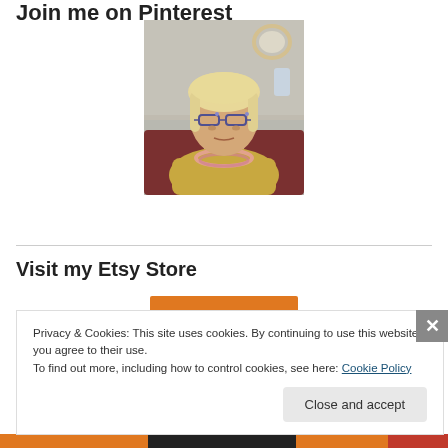Join me on Pinterest
[Figure (photo): Portrait photo of a woman with blonde hair, decorative glasses, and a colorful beaded necklace, seated in front of a sparkly/textured background with a mirror and decorative figurines visible]
Visit my Etsy Store
[Figure (other): Orange Etsy store button/banner, partially visible]
Privacy & Cookies: This site uses cookies. By continuing to use this website, you agree to their use.
To find out more, including how to control cookies, see here: Cookie Policy
Close and accept